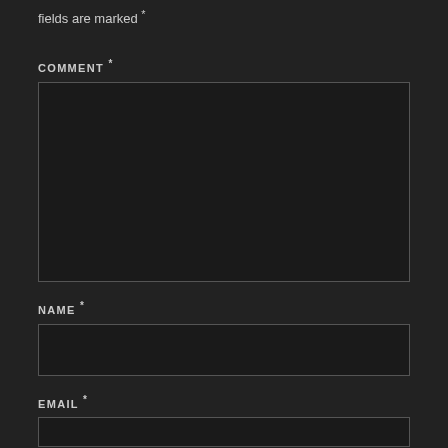fields are marked *
COMMENT *
[Figure (other): Large textarea input box for comment field, dark background with light border]
NAME *
[Figure (other): Single-line text input box for name field, dark background with light border]
EMAIL *
[Figure (other): Single-line text input box for email field, dark background with light border, partially visible]